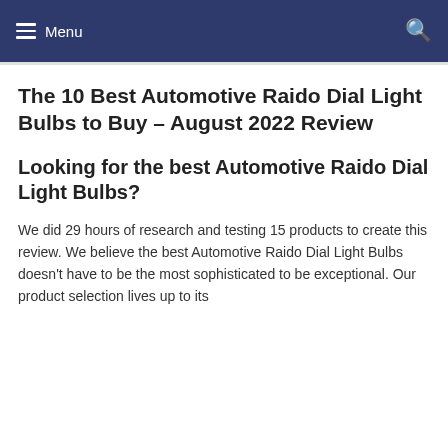Menu
The 10 Best Automotive Raido Dial Light Bulbs to Buy – August 2022 Review
Looking for the best Automotive Raido Dial Light Bulbs?
We did 29 hours of research and testing 15 products to create this review. We believe the best Automotive Raido Dial Light Bulbs doesn't have to be the most sophisticated to be exceptional. Our product selection lives up to its